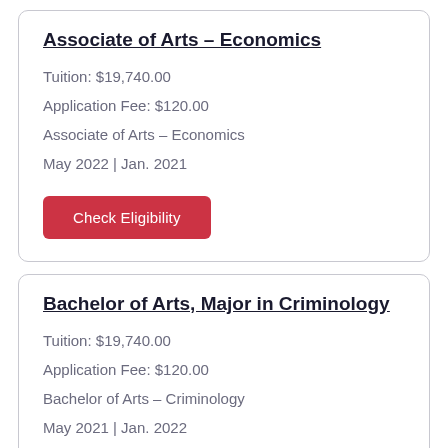Associate of Arts – Economics
Tuition: $19,740.00
Application Fee: $120.00
Associate of Arts – Economics
May 2022 | Jan. 2021
Check Eligibility
Bachelor of Arts, Major in Criminology
Tuition: $19,740.00
Application Fee: $120.00
Bachelor of Arts – Criminology
May 2021 | Jan. 2022